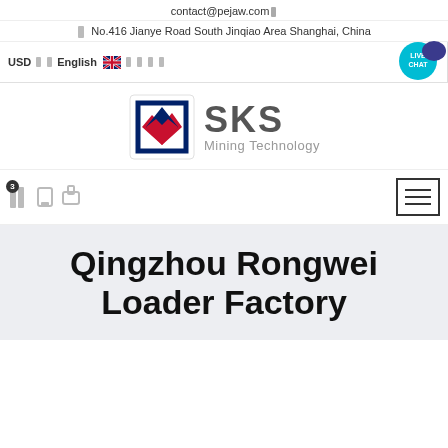contact@pejaw.com
No.416 Jianye Road South Jinqiao Area Shanghai, China
USD  English
[Figure (logo): SKS Mining Technology logo with red and blue geometric shield emblem and company name]
[Figure (infographic): Navigation toolbar with shopping cart icon showing badge 3, wishlist and compare icons, and hamburger menu button on right]
Qingzhou Rongwei Loader Factory